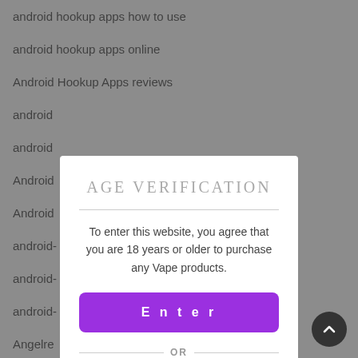android hookup apps how to use
android hookup apps online
Android Hookup Apps reviews
android
android
Android
Android
android-
android-
android-
Angelre
Angelre
Angelre
angelre
[Figure (screenshot): Age verification modal overlay with title AGE VERIFICATION, body text 'To enter this website, you agree that you are 18 years or older to purchase any Vape products.', a purple Enter button, an OR divider, and a dark purple Exit button.]